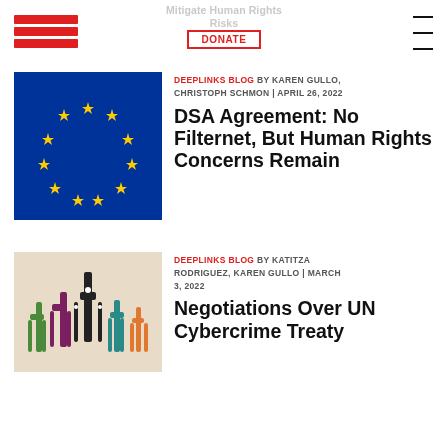EFF | Mitigate Human Rights Risks | DONATE
[Figure (illustration): EU flag — blue background with circle of 12 yellow stars]
DEEPLINKS BLOG BY KAREN GULLO, CHRISTOPH SCHMON | APRIL 26, 2022
DSA Agreement: No Filternet, But Human Rights Concerns Remain
[Figure (illustration): Colorful raised hands with circuit-board lines on cream background]
DEEPLINKS BLOG BY KATITZA RODRIGUEZ, KAREN GULLO | MARCH 3, 2022
Negotiations Over UN Cybercrime Treaty